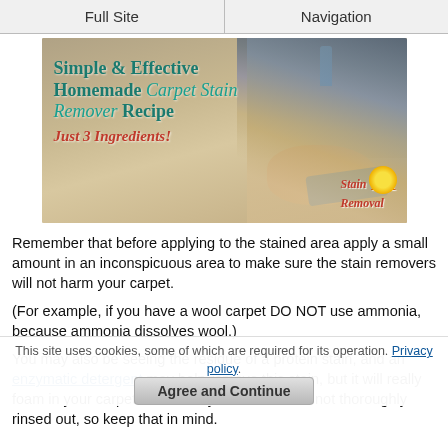Full Site | Navigation
[Figure (photo): Photo of a person cleaning a carpet with a spray bottle. Overlay text reads: Simple & Effective Homemade Carpet Stain Remover Recipe — Just 3 Ingredients! Stain Removal 101 logo in corner.]
Remember that before applying to the stained area apply a small amount in an inconspicuous area to make sure the stain removers will not harm your carpet.
(For example, if you have a wool carpet DO NOT use ammonia, because ammonia dissolves wool.)
You may also be seeing the residue of a protein stain, and an enzymatic detergent may help remove this stain, but it will really foam in your carpet and is likely to attract dirt if not thoroughly rinsed out, so keep that in mind.
This site uses cookies, some of which are required for its operation. Privacy policy. Agree and Continue